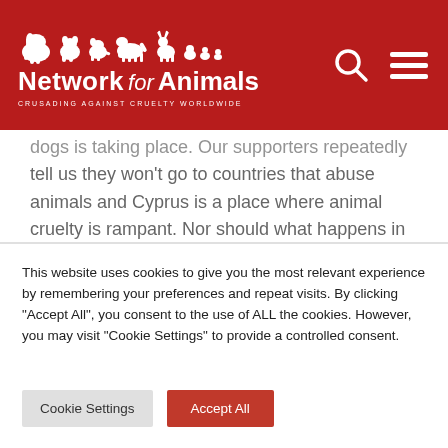[Figure (logo): Network for Animals logo with white animal silhouettes (elephant, bear, dog, horse, deer, small animals) on red background, text 'Network for Animals' and tagline 'CRUSADING AGAINST CRUELTY WORLDWIDE', plus search icon and hamburger menu icon]
dogs is taking place. Our supporters repeatedly tell us they won't go to countries that abuse animals and Cyprus is a place where animal cruelty is rampant. Nor should what happens in Cyprus be accepted by the international community. Cyprus is a member of the European Union (EU) that has community-wide animal
This website uses cookies to give you the most relevant experience by remembering your preferences and repeat visits. By clicking "Accept All", you consent to the use of ALL the cookies. However, you may visit "Cookie Settings" to provide a controlled consent.
Cookie Settings
Accept All